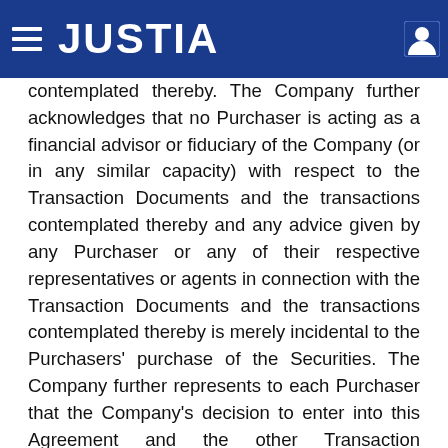JUSTIA
contemplated thereby. The Company further acknowledges that no Purchaser is acting as a financial advisor or fiduciary of the Company (or in any similar capacity) with respect to the Transaction Documents and the transactions contemplated thereby and any advice given by any Purchaser or any of their respective representatives or agents in connection with the Transaction Documents and the transactions contemplated thereby is merely incidental to the Purchasers' purchase of the Securities. The Company further represents to each Purchaser that the Company's decision to enter into this Agreement and the other Transaction Documents has been based solely on the independent evaluation of the transactions contemplated hereby by the Company and its representatives.